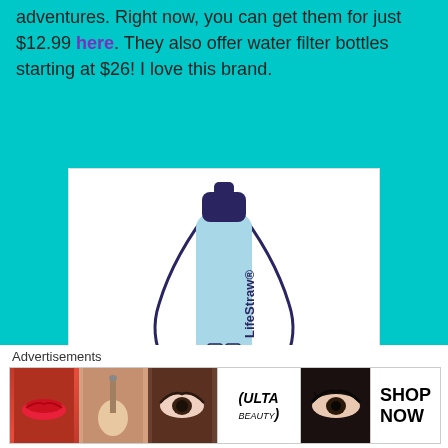adventures. Right now, you can get them for just $12.99 here. They also offer water filter bottles starting at $26! I love this brand.
[Figure (photo): A LifeStraw personal water filter product — a light blue cylindrical straw filter with a dark navy cap and lanyard cord, with 'LifeStraw' branding printed vertically on the body.]
Advertisements
[Figure (photo): Advertisement banner showing beauty/makeup images: lips with red lipstick, face brush, close-up eye with eyeshadow, ULTA Beauty logo, dramatic eye makeup close-up, and SHOP NOW text.]